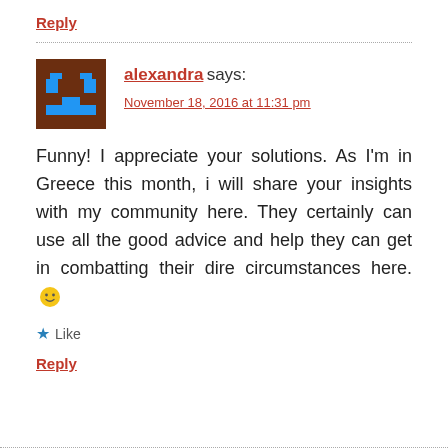Reply
[Figure (other): Pixel-art avatar: dark brown background with blue geometric shapes (chest/torso figure)]
alexandra says:
November 18, 2016 at 11:31 pm
Funny! I appreciate your solutions. As I'm in Greece this month, i will share your insights with my community here. They certainly can use all the good advice and help they can get in combatting their dire circumstances here. 🙂
Like
Reply